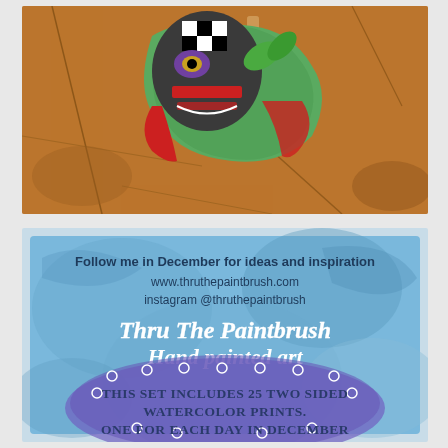[Figure (illustration): Colorful puppet or masked figure on a stick with bright painted patterns (green, red, black, white checkers, purple) held against a brown cracked earth background]
[Figure (illustration): Blue watercolor textured card for 'Thru The Paintbrush Hand painted art' with follow-me social media info and product description: 25 two sided watercolor prints, one for each day in December]
Follow me in December for ideas and inspiration
www.thruthepaintbrush.com
instagram @thruthepaintbrush
Thru The Paintbrush
Hand painted art
This set includes 25 two sided watercolor prints. One for each day in December